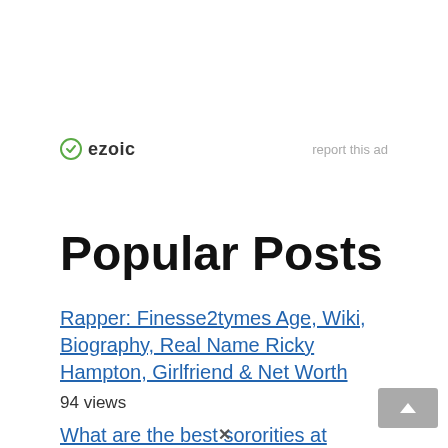[Figure (logo): Ezoic logo with green circular icon and bold text 'ezoic', with 'report this ad' text on the right]
Popular Posts
Rapper: Finesse2tymes Age, Wiki, Biography, Real Name Ricky Hampton, Girlfriend & Net Worth
94 views
What are the best sororities at